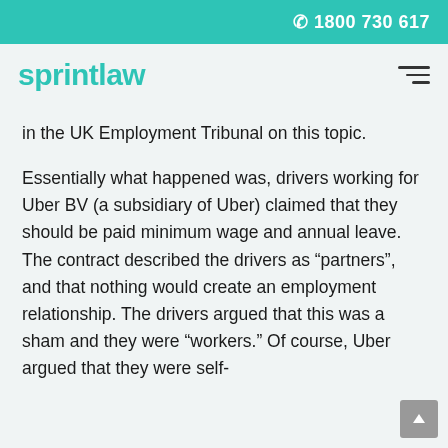☎ 1800 730 617
sprintlaw
in the UK Employment Tribunal on this topic.
Essentially what happened was, drivers working for Uber BV (a subsidiary of Uber) claimed that they should be paid minimum wage and annual leave. The contract described the drivers as “partners”, and that nothing would create an employment relationship. The drivers argued that this was a sham and they were “workers.” Of course, Uber argued that they were self-